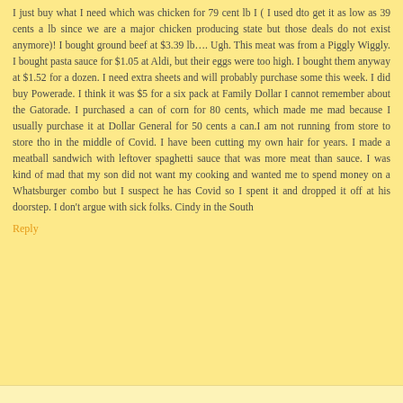I just buy what I need which was chicken for 79 cent lb I ( I used dto get it as low as 39 cents a lb since we are a major chicken producing state but those deals do not exist anymore)! I bought ground beef at $3.39 lb…. Ugh. This meat was from a Piggly Wiggly. I bought pasta sauce for $1.05 at Aldi, but their eggs were too high. I bought them anyway at $1.52 for a dozen. I need extra sheets and will probably purchase some this week. I did buy Powerade. I think it was $5 for a six pack at Family Dollar I cannot remember about the Gatorade. I purchased a can of corn for 80 cents, which made me mad because I usually purchase it at Dollar General for 50 cents a can.I am not running from store to store tho in the middle of Covid. I have been cutting my own hair for years. I made a meatball sandwich with leftover spaghetti sauce that was more meat than sauce. I was kind of mad that my son did not want my cooking and wanted me to spend money on a Whatsburger combo but I suspect he has Covid so I spent it and dropped it off at his doorstep. I don't argue with sick folks. Cindy in the South
Reply